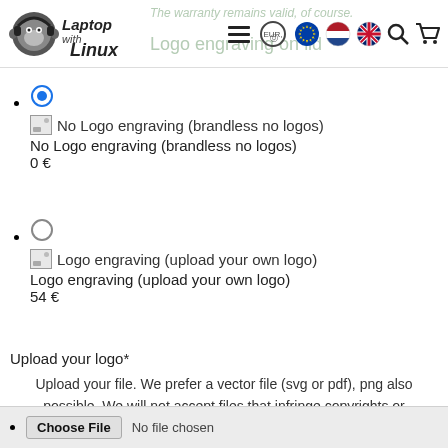Laptop with Linux — navigation bar with logo, menu icon, EUR currency selector, EU flag, Netherlands flag, UK flag, search icon, cart icon
The warranty remains valid, of course.
Logo engraving on lid
No Logo engraving (brandless no logos)
0 €
Logo engraving (upload your own logo)
54 €
Upload your logo*
Upload your file. We prefer a vector file (svg or pdf), png also possible. We will not accept files that infringe copyrights or trademarks unless you can prove that you have permission to use the file.
Choose File  No file chosen